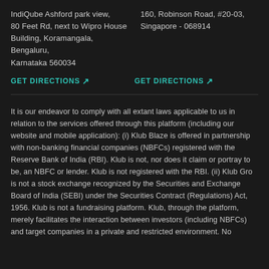IndiQube Ashford park view, 80 Feet Rd, next to Wipro House Building, Koramangala, Bengaluru, Karnataka 560034
160, Robinson Road, #20-03, Singapore - 068914
GET DIRECTIONS ↗
GET DIRECTIONS ↗
It is our endeavor to comply with all extant laws applicable to us in relation to the services offered through this platform (including our website and mobile application): (i) Klub Blaze is offered in partnership with non-banking financial companies (NBFCs) registered with the Reserve Bank of India (RBI). Klub is not, nor does it claim or portray to be, an NBFC or lender. Klub is not registered with the RBI. (ii) Klub Gro is not a stock exchange recognized by the Securities and Exchange Board of India (SEBI) under the Securities Contract (Regulations) Act, 1956. Klub is not a fundraising platform. Klub, through the platform, merely facilitates the interaction between investors (including NBFCs) and target companies in a private and restricted environment. No